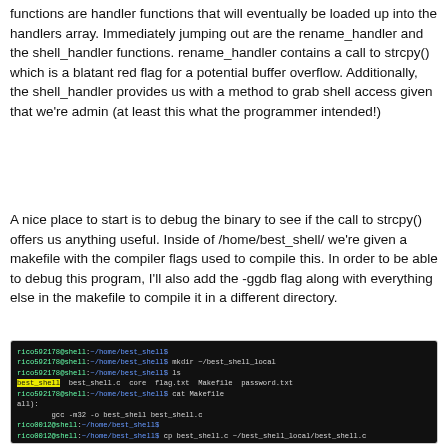functions are handler functions that will eventually be loaded up into the handlers array. Immediately jumping out are the rename_handler and the shell_handler functions. rename_handler contains a call to strcpy() which is a blatant red flag for a potential buffer overflow. Additionally, the shell_handler provides us with a method to grab shell access given that we're admin (at least this what the programmer intended!)
A nice place to start is to debug the binary to see if the call to strcpy() offers us anything useful. Inside of /home/best_shell/ we're given a makefile with the compiler flags used to compile this. In order to be able to debug this program, I'll also add the -ggdb flag along with everything else in the makefile to compile it in a different directory.
[Figure (screenshot): Terminal screenshot showing shell commands: mkdir ~/best_shell_local, ls listing best_shell, best_shell.c, core, flag.txt, Makefile, password.txt, cat Makefile showing gcc -m32 command, cp and cd commands, cat password.txt showing 'c', and a note to edit best_shell.c to use local password.txt]